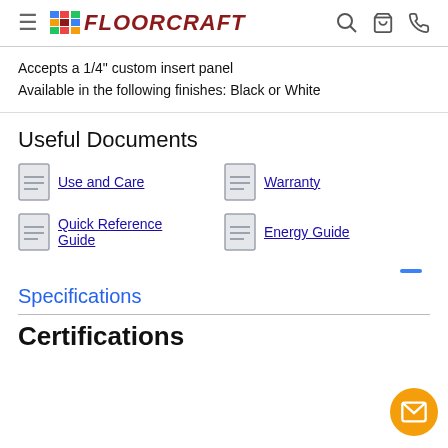FLOORCRAFT
Accepts a 1/4" custom insert panel
Available in the following finishes: Black or White
Useful Documents
Use and Care
Warranty
Quick Reference Guide
Energy Guide
Specifications
Certifications